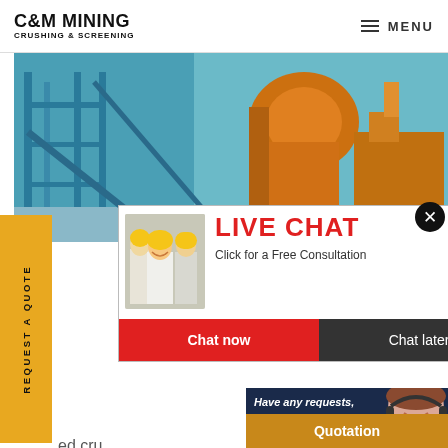C&M MINING CRUSHING & SCREENING | MENU
[Figure (photo): Industrial mining crushing and screening equipment machinery in a facility, with blue and orange metal structures]
[Figure (screenshot): Live chat popup overlay with workers in yellow hard hats, title LIVE CHAT, subtitle Click for a Free Consultation, Chat now and Chat later buttons]
[Figure (photo): Customer service representative with headset smiling, with Have any requests click here text and Quotation button]
REQUEST A QUOTE
ed cru
oes Of U
wide selection of used crushers
scus – whether you're looking f
m Svedala, Nordberg, Kue-ken,
Mascus is the place to find the pe
crusher equipment for you.. Explo
second hand crushers for sale wit